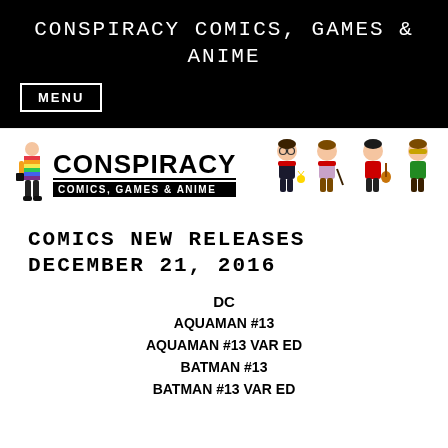CONSPIRACY COMICS, GAMES & ANIME
[Figure (logo): Menu button in black bar]
[Figure (logo): Conspiracy Comics, Games & Anime logo with rainbow figure and Harry Potter Funko Pop figures]
COMICS NEW RELEASES DECEMBER 21, 2016
DC
AQUAMAN #13
AQUAMAN #13 VAR ED
BATMAN #13
BATMAN #13 VAR ED